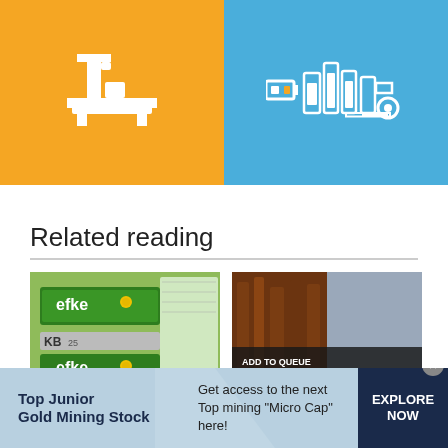[Figure (illustration): Two icon panels side by side: left orange panel with white industrial/press machine icon, right blue panel with white battery/industrial equipment icons]
Related reading
[Figure (photo): Photo of efke KB film boxes (green packaging) with handwritten note]
[Figure (screenshot): Screenshot thumbnail with overlay text: ADD TO QUEUE / INTERVIEWING BEN HORNE (NO.2), showing forest and fabric images]
[Figure (infographic): Advertisement banner: Top Junior Gold Mining Stock — Get access to the next Top mining "Micro Cap" here! — EXPLORE NOW button]